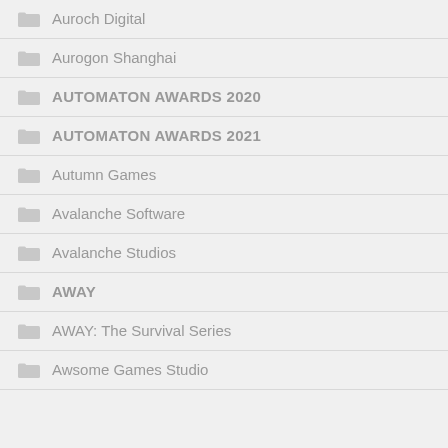Auroch Digital
Aurogon Shanghai
AUTOMATON AWARDS 2020
AUTOMATON AWARDS 2021
Autumn Games
Avalanche Software
Avalanche Studios
AWAY
AWAY: The Survival Series
Awsome Games Studio